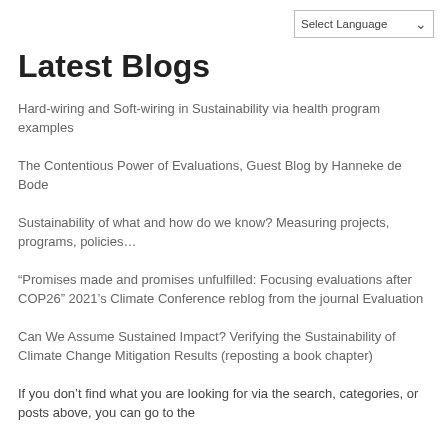Latest Blogs
Hard-wiring and Soft-wiring in Sustainability via health program examples
The Contentious Power of Evaluations, Guest Blog by Hanneke de Bode
Sustainability of what and how do we know? Measuring projects, programs, policies…
“Promises made and promises unfulfilled: Focusing evaluations after COP26” 2021’s Climate Conference reblog from the journal Evaluation
Can We Assume Sustained Impact? Verifying the Sustainability of Climate Change Mitigation Results (reposting a book chapter)
If you don’t find what you are looking for via the search, categories, or posts above, you can go to the